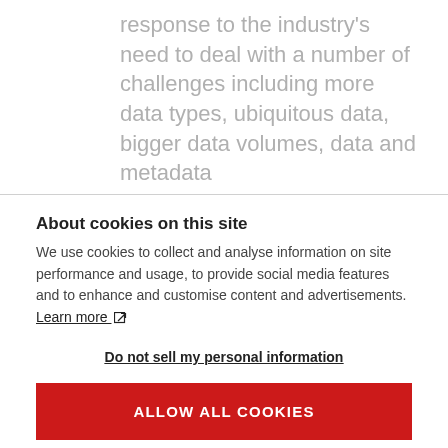response to the industry's need to deal with a number of challenges including more data types, ubiquitous data, bigger data volumes, data and metadata
About cookies on this site
We use cookies to collect and analyse information on site performance and usage, to provide social media features and to enhance and customise content and advertisements. Learn more
Do not sell my personal information
ALLOW ALL COOKIES